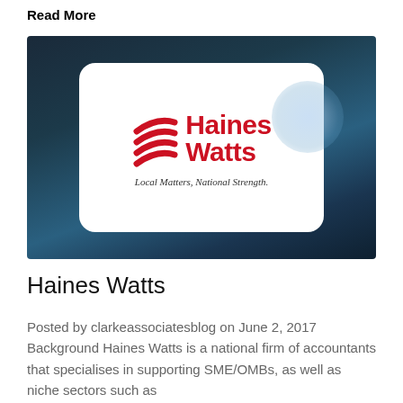Read More
[Figure (logo): Haines Watts logo on dark blue gradient background with white rounded card. Logo shows red chevron/wave icon and red bold text 'Haines Watts' with italic tagline 'Local Matters, National Strength.']
Haines Watts
Posted by clarkeassociatesblog on June 2, 2017 Background Haines Watts is a national firm of accountants that specialises in supporting SME/OMBs, as well as niche sectors such as